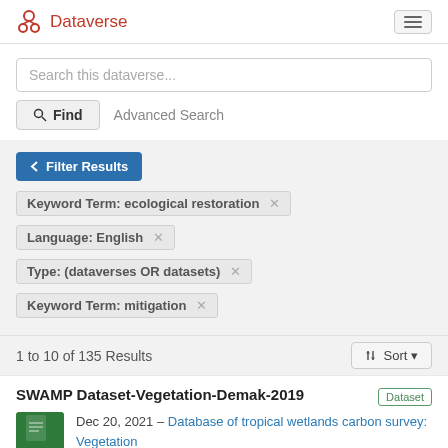Dataverse
Search this dataverse...
Find   Advanced Search
Filter Results
Keyword Term: ecological restoration ×
Language: English ×
Type: (dataverses OR datasets) ×
Keyword Term: mitigation ×
1 to 10 of 135 Results
Sort
SWAMP Dataset-Vegetation-Demak-2019
Dec 20, 2021 – Database of tropical wetlands carbon survey: Vegetation